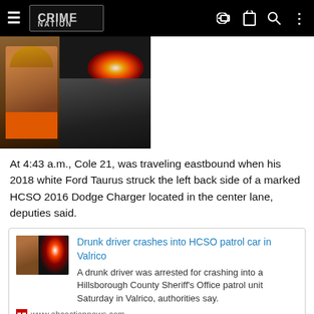Crime Nation
[Figure (photo): Mugshot of a young man with blond hair wearing an orange shirt, alongside a police car with flashing lights at night]
At 4:43 a.m., Cole 21, was traveling eastbound when his 2018 white Ford Taurus struck the left back side of a marked HCSO 2016 Dodge Charger located in the center lane, deputies said.
[Figure (photo): Small thumbnail image of a person with a police car in background]
Drunk driver crashes into HCSO patrol car in Valrico
A drunk driver was arrested for crashing into a Hillsborough County Sheriff's Office patrol unit Saturday in Valrico, authorities say.
www.abcactionnews.com
xavierny25, Matt and Mooseman
littleblazer